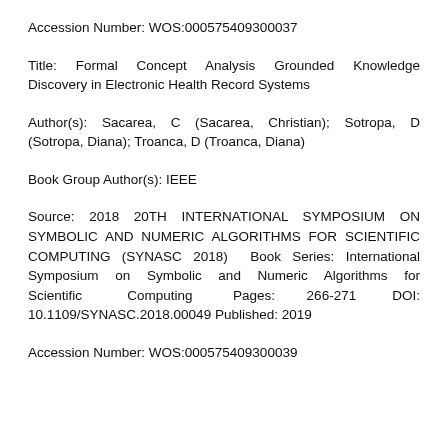Accession Number: WOS:000575409300037
Title: Formal Concept Analysis Grounded Knowledge Discovery in Electronic Health Record Systems
Author(s): Sacarea, C (Sacarea, Christian); Sotropa, D (Sotropa, Diana); Troanca, D (Troanca, Diana)
Book Group Author(s): IEEE
Source: 2018 20TH INTERNATIONAL SYMPOSIUM ON SYMBOLIC AND NUMERIC ALGORITHMS FOR SCIENTIFIC COMPUTING (SYNASC 2018) Book Series: International Symposium on Symbolic and Numeric Algorithms for Scientific Computing Pages: 266-271 DOI: 10.1109/SYNASC.2018.00049 Published: 2019
Accession Number: WOS:000575409300039